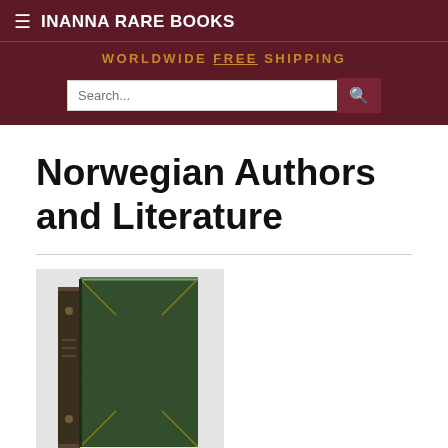≡ INANNA RARE BOOKS
WORLDWIDE FREE SHIPPING
Norwegian Authors and Literature
[Figure (photo): Photo of an antique green marbled book with brown leather spine, standing upright next to its cover, on a light grey background.]